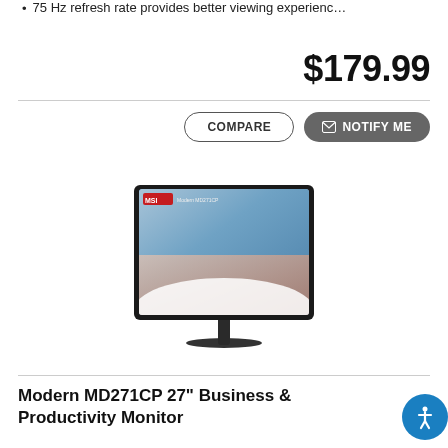75 Hz refresh rate provides better viewing experienc…
$179.99
[Figure (screenshot): COMPARE button (outlined) and NOTIFY ME button (dark grey filled) side by side]
[Figure (photo): MSI Modern MD271CP 27-inch curved business monitor on a stand, showing a gradient desktop wallpaper with blue and pink tones and the MSI logo]
Modern MD271CP 27" Business & Productivity Monitor